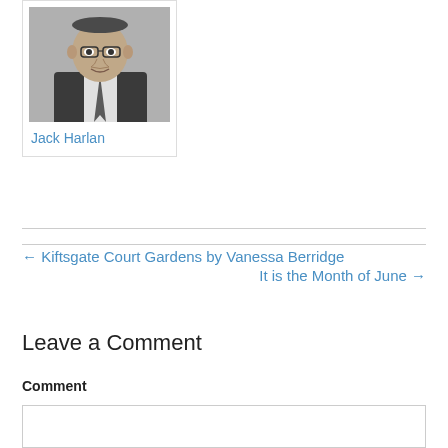[Figure (photo): Black and white headshot photo of Jack Harlan, a man in a suit and tie]
Jack Harlan
← Kiftsgate Court Gardens by Vanessa Berridge
It is the Month of June →
Leave a Comment
Comment